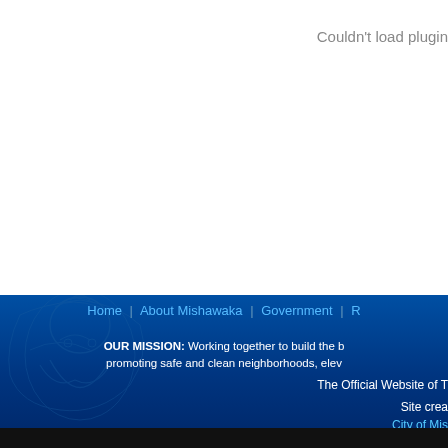Couldn't load plugin
Home | About Mishawaka | Government | R
OUR MISSION: Working together to build the b promoting safe and clean neighborhoods, elev
The Official Website of T
Site crea City of Mis